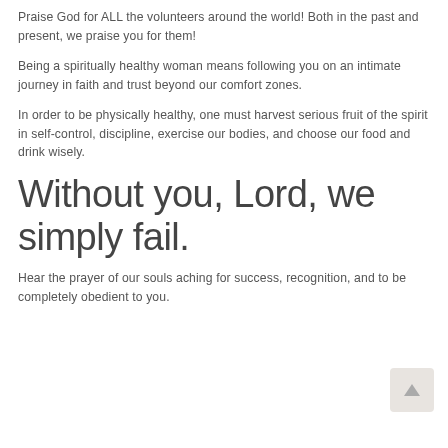Praise God for ALL the volunteers around the world! Both in the past and present, we praise you for them!
Being a spiritually healthy woman means following you on an intimate journey in faith and trust beyond our comfort zones.
In order to be physically healthy, one must harvest serious fruit of the spirit in self-control, discipline, exercise our bodies, and choose our food and drink wisely.
Without you, Lord, we simply fail.
Hear the prayer of our souls aching for success, recognition, and to be completely obedient to you.